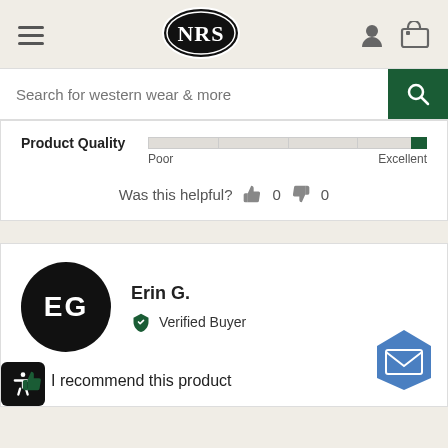[Figure (logo): NRS logo - black oval with white NRS text]
Search for western wear & more
Product Quality  Poor  Excellent
Was this helpful? 0 0
Erin G.
Verified Buyer
I recommend this product